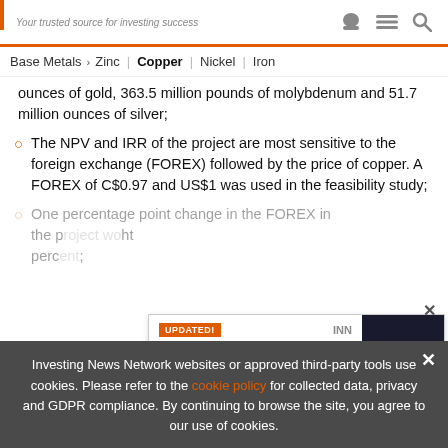Your trusted source for investing success
Base Metals > Zinc | Copper | Nickel | Iron
ounces of gold, 363.5 million pounds of molybdenum and 51.7 million ounces of silver;
The NPV and IRR of the project are most sensitive to the foreign exchange (FOREX) followed by the price of copper. A FOREX of C$0.97 and US$1 was used in the feasibility study;
One percentage point change in the FOREX in... the p... ht perc...
[Figure (screenshot): Advertisement overlay: UPDATED! 2022 Copper Outlook Report - TOP COPPER Stocks, Trends, Expert Forecasts with INN branding and book cover]
Investing News Network websites or approved third-party tools use cookies. Please refer to the cookie policy for collected data, privacy and GDPR compliance. By continuing to browse the site, you agree to our use of cookies.